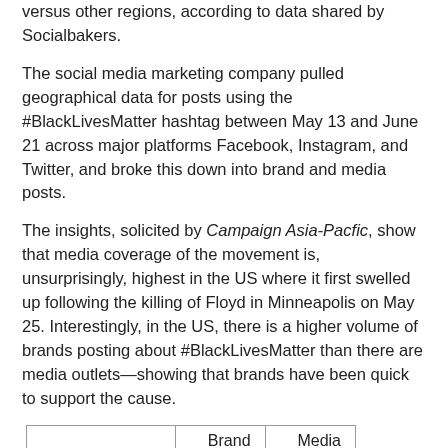versus other regions, according to data shared by Socialbakers.
The social media marketing company pulled geographical data for posts using the #BlackLivesMatter hashtag between May 13 and June 21 across major platforms Facebook, Instagram, and Twitter, and broke this down into brand and media posts.
The insights, solicited by Campaign Asia-Pacfic, show that media coverage of the movement is, unsurprisingly, highest in the US where it first swelled up following the killing of Floyd in Minneapolis on May 25. Interestingly, in the US, there is a higher volume of brands posting about #BlackLivesMatter than there are media outlets—showing that brands have been quick to support the cause.
|  | Brand posts | Media posts |
| --- | --- | --- |
| US | 2009 | 1513 |
| APAC | 164 | 887 |